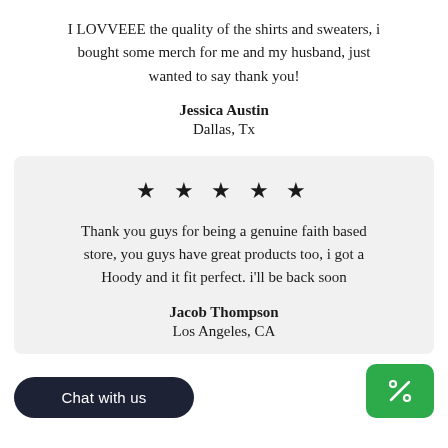I LOVVEEE the quality of the shirts and sweaters, i bought some merch for me and my husband, just wanted to say thank you!
Jessica Austin
Dallas, Tx
[Figure (other): Five black star rating icons displayed in a row]
Thank you guys for being a genuine faith based store, you guys have great products too, i got a Hoody and it fit perfect. i'll be back soon
Jacob Thompson
Los Angeles, CA
[Figure (other): Dark rounded pill-shaped Chat with us button and green percent discount button in the bottom UI]
Chat with us